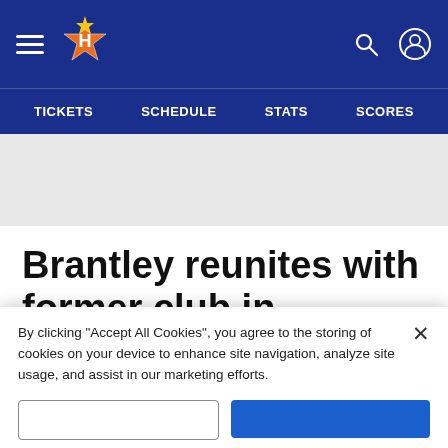Houston Astros navigation header with hamburger menu, Astros logo, search icon, and user icon
TICKETS  SCHEDULE  STATS  SCORES
[Figure (other): Gray advertisement/promo banner area]
Brantley reunites with former club in Houston
April 26th, 2019
Brian McTaggart
By clicking "Accept All Cookies", you agree to the storing of cookies on your device to enhance site navigation, analyze site usage, and assist in our marketing efforts.